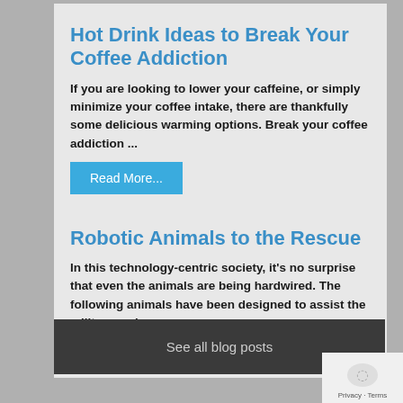Hot Drink Ideas to Break Your Coffee Addiction
If you are looking to lower your caffeine, or simply minimize your coffee intake, there are thankfully some delicious warming options. Break your coffee addiction ...
Read More...
Robotic Animals to the Rescue
In this technology-centric society, it's no surprise that even the animals are being hardwired. The following animals have been designed to assist the military and ...
Read More...
See all blog posts